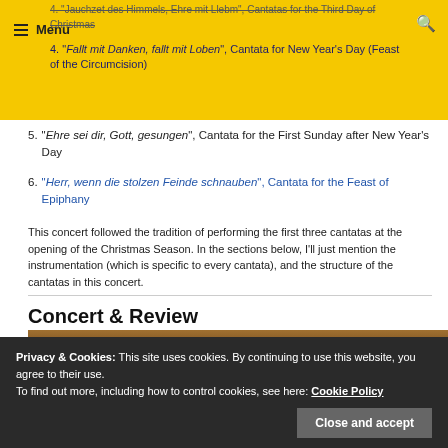Menu
4. “Jauchzet, frohlocket”, Cantata for the Third Day of Christmas
4. “Fallt mit Danken, fallt mit Loben”, Cantata for New Year’s Day (Feast of the Circumcision)
5. “Ehre sei dir, Gott, gesungen”, Cantata for the First Sunday after New Year’s Day
6. “Herr, wenn die stolzen Feinde schnauben”, Cantata for the Feast of Epiphany
This concert followed the tradition of performing the first three cantatas at the opening of the Christmas Season. In the sections below, I’ll just mention the instrumentation (which is specific to every cantata), and the structure of the cantatas in this concert.
Concert & Review
[Figure (photo): Photo of orchestra musicians performing, viewed from above, warm amber/brown tones]
Privacy & Cookies: This site uses cookies. By continuing to use this website, you agree to their use. To find out more, including how to control cookies, see here: Cookie Policy